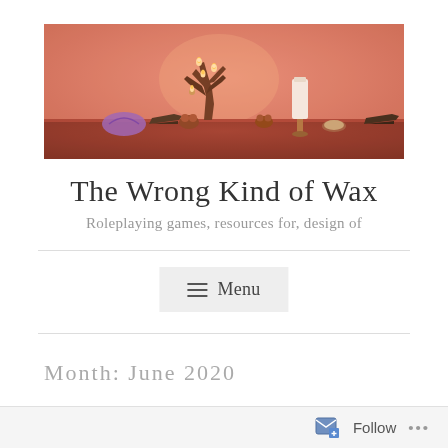[Figure (photo): A warm orange-red lit shelf scene with a driftwood candelabra holding lit candles, a tall white pillar candle on a stand, and various small decorative figurines (frog, shell, etc.) on a wooden surface against a salmon-pink wall.]
The Wrong Kind of Wax
Roleplaying games, resources for, design of
Menu
Month: June 2020
Follow ...